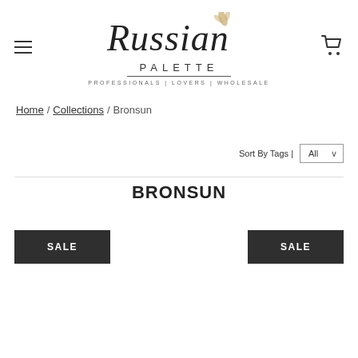[Figure (logo): Russian Palette logo — cursive script 'Russian' above 'PALETTE' in spaced caps, with a horizontal rule and tagline 'PROFESSIONALS | LOVERS | WHOLESALE']
Home / Collections / Bronsun
Sort By Tags | All
BRONSUN
SALE
SALE